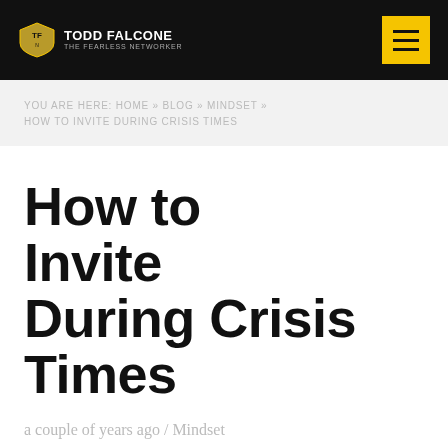TODD FALCONE THE FEARLESS NETWORKER
YOU ARE HERE: HOME » BLOG » MINDSET » HOW TO INVITE DURING CRISIS TIMES
How to Invite During Crisis Times
a couple of years ago / Mindset
/ By Todd Falcone